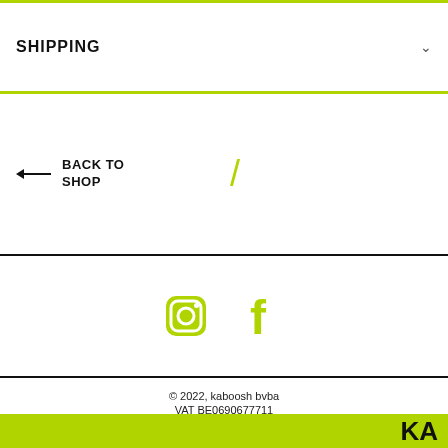SHIPPING
← BACK TO SHOP
[Figure (illustration): Green forward slash decorative element]
[Figure (illustration): Social media icons: Instagram and Facebook in lime green]
© 2022, kaboosh bvba
VAT BE0690677711
KA